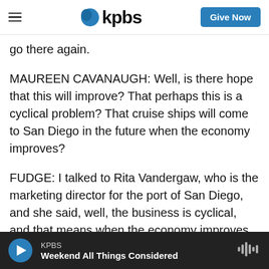KPBS | Give Now
go there again.
MAUREEN CAVANAUGH: Well, is there hope that this will improve? That perhaps this is a cyclical problem? That cruise ships will come to San Diego in the future when the economy improves?
FUDGE: I talked to Rita Vandergaw, who is the marketing director for the port of San Diego, and she said, well, the business is cyclical, and that means when the economy improves, it'll get better. Now, somebody at the port of San Diego like that would say something like that because they want
KPBS — Weekend All Things Considered